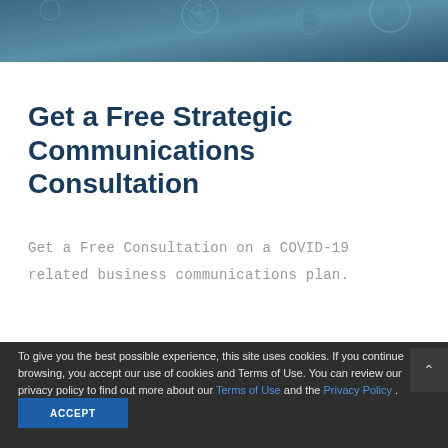[Figure (photo): Dark teal/blue header banner with microscopic cell or molecule imagery in the background]
Get a Free Strategic Communications Consultation
Get a Free Consultation on a COVID-19 related business communications plan.
To give you the best possible experience, this site uses cookies.  If you continue browsing, you accept our use of cookies and Terms of Use.  You can review our privacy policy to find out more about our Terms of Use and the Privacy Policy .
ACCEPT